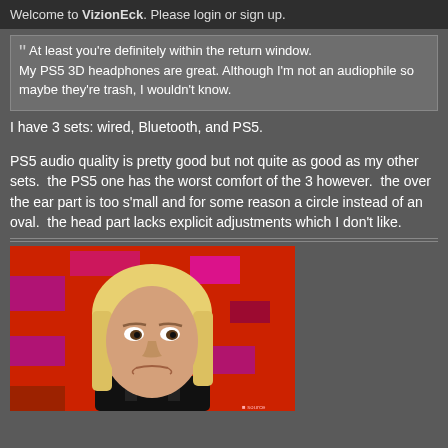Welcome to VizionEck. Please login or sign up.
At least you're definitely within the return window.
My PS5 3D headphones are great. Although I'm not an audiophile so maybe they're trash, I wouldn't know.
I have 3 sets: wired, Bluetooth, and PS5.
PS5 audio quality is pretty good but not quite as good as my other sets.  the PS5 one has the worst comfort of the 3 however.  the over the ear part is too s'mall and for some reason a circle instead of an oval.  the head part lacks explicit adjustments which I don't like.
[Figure (photo): A blonde woman with a skeptical or disgusted expression, seated in front of a red background with colorful shapes, appears to be on a TV talk show set.]